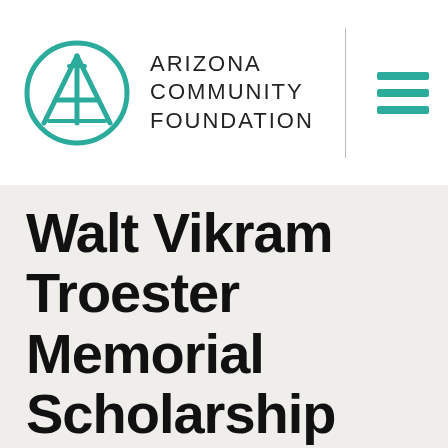[Figure (logo): Arizona Community Foundation logo — circular teal icon with stylized A inside, next to the text ARIZONA COMMUNITY FOUNDATION in uppercase, and a teal hamburger menu icon to the right separated by a vertical line]
Walt Vikram Troester Memorial Scholarship Fund